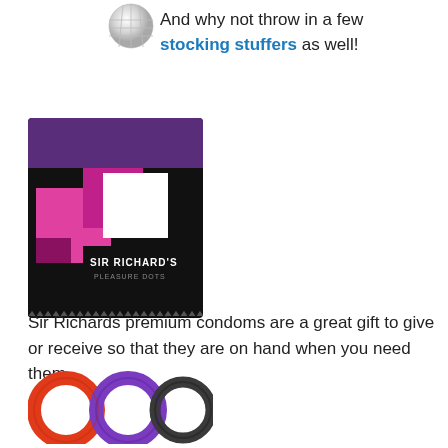[Figure (photo): Disco ball partial image at top]
And why not throw in a few stocking stuffers as well!
[Figure (photo): Sir Richard's Pleasure Dots condom package — black with pink/purple squares]
Sir Richards premium condoms are a great gift to give or receive so that they are on hand when you need them.
[Figure (photo): Three silicone rings in red, purple, and dark gray/black colors]